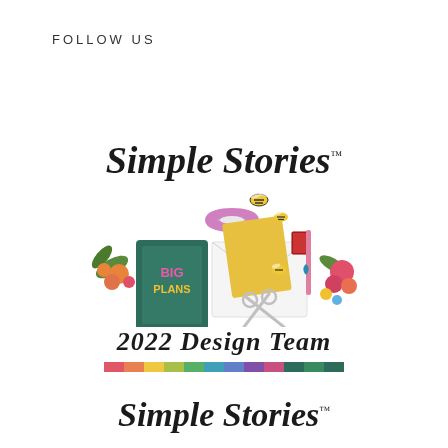FOLLOW US
[Figure (logo): Simple Stories 2022 Design Team logo with illustrated crafting supplies including a planner labeled BIG PLANS, washi tape, scissors, flowers, bees, and an envelope. A colorful multi-color stripe runs beneath the '2022 Design Team' text.]
Simple Stories